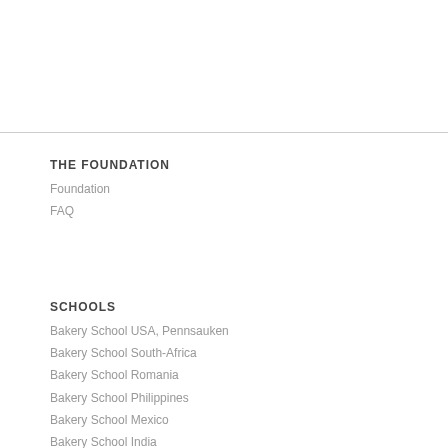THE FOUNDATION
Foundation
FAQ
SCHOOLS
Bakery School USA, Pennsauken
Bakery School South-Africa
Bakery School Romania
Bakery School Philippines
Bakery School Mexico
Bakery School India